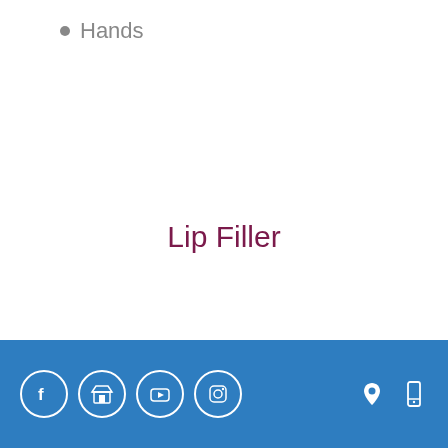Hands
Lip Filler
[Figure (screenshot): A loading/placeholder card with a circular avatar placeholder and two grey rectangular content placeholder lines]
Social media icons: Facebook, Google My Business, YouTube, Instagram; location pin and mobile phone icons